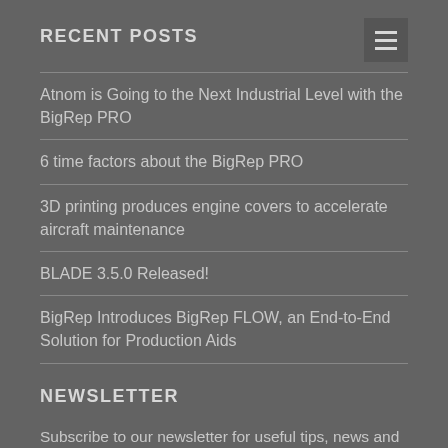RECENT POSTS
Atnom is Going to the Next Industrial Level with the BigRep PRO
6 time factors about the BigRep PRO
3D printing produces engine covers to accelerate aircraft maintenance
BLADE 3.5.0 Released!
BigRep Introduces BigRep FLOW, an End-to-End Solution for Production Aids
NEWSLETTER
Subscribe to our newsletter for useful tips, news and resources around industrial 3D printing.